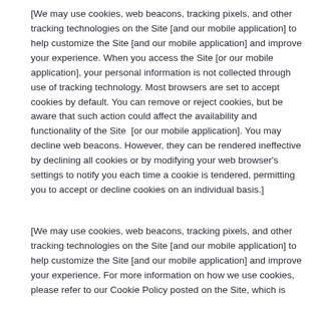[We may use cookies, web beacons, tracking pixels, and other tracking technologies on the Site [and our mobile application] to help customize the Site [and our mobile application] and improve your experience. When you access the Site [or our mobile application], your personal information is not collected through use of tracking technology. Most browsers are set to accept cookies by default. You can remove or reject cookies, but be aware that such action could affect the availability and functionality of the Site  [or our mobile application]. You may decline web beacons. However, they can be rendered ineffective by declining all cookies or by modifying your web browser's settings to notify you each time a cookie is tendered, permitting you to accept or decline cookies on an individual basis.]
[We may use cookies, web beacons, tracking pixels, and other tracking technologies on the Site [and our mobile application] to help customize the Site [and our mobile application] and improve your experience. For more information on how we use cookies, please refer to our Cookie Policy posted on the Site, which is